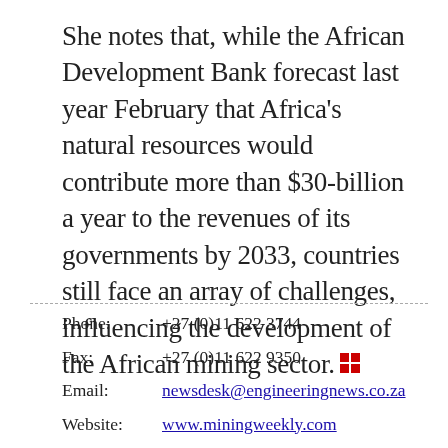She notes that, while the African Development Bank forecast last year February that Africa's natural resources would contribute more than $30-billion a year to the revenues of its governments by 2033, countries still face an array of challenges, influencing the development of the African mining sector. ▪▪
Phone: +27 (0)11 622 3744
Fax: +27 (0)11 622 9350
Email: newsdesk@engineeringnews.co.za
Website: www.miningweekly.com